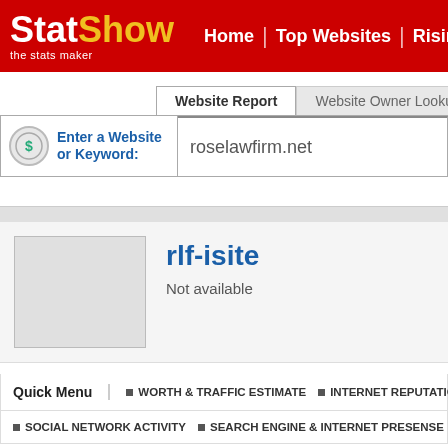StatShow - the stats maker | Home | Top Websites | Rising We...
Website Report | Website Owner Lookup
Enter a Website or Keyword:
roselawfirm.net
rlf-isite
Not available
Quick Menu | WORTH & TRAFFIC ESTIMATE | INTERNET REPUTATION
SOCIAL NETWORK ACTIVITY | SEARCH ENGINE & INTERNET PRESENSE